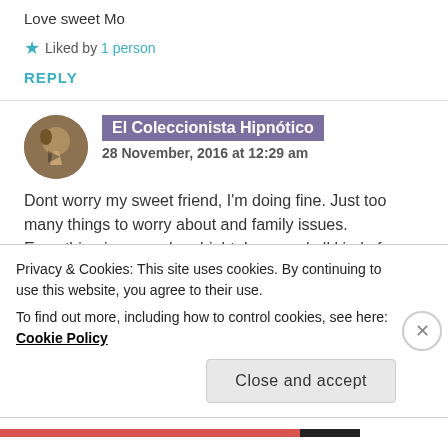Love sweet Mo
★ Liked by 1 person
REPLY
El Coleccionista Hipnótico
28 November, 2016 at 12:29 am
Dont worry my sweet friend, I'm doing fine. Just too many things to worry about and family issues. Everything is gonna be alright. Love and all kind of
Privacy & Cookies: This site uses cookies. By continuing to use this website, you agree to their use.
To find out more, including how to control cookies, see here: Cookie Policy